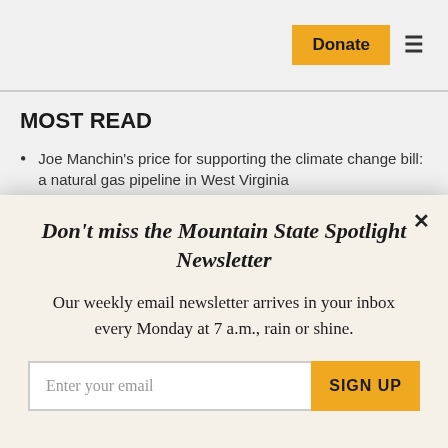Donate  ☰
MOST READ
Joe Manchin's price for supporting the climate change bill: a natural gas pipeline in West Virginia
Don't miss the Mountain State Spotlight Newsletter
Our weekly email newsletter arrives in your inbox every Monday at 7 a.m., rain or shine.
Enter your email  SIGN UP